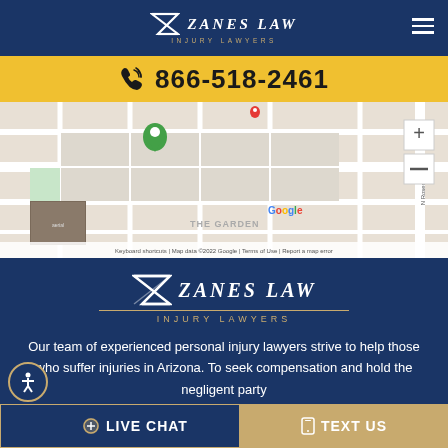Zanes Law Injury Lawyers — navigation header
866-518-2461
[Figure (map): Google Maps embed showing location of Zanes Law office in Arizona. Map shows street grid with a green location pin, Google logo, and controls. Footer text: 'Keyboard shortcuts | Map data ©2022 Google | Terms of Use | Report a map error']
[Figure (logo): Zanes Law Injury Lawyers logo — white text with gold decorative underline on dark navy background]
Our team of experienced personal injury lawyers strive to help those who suffer injuries in Arizona. To seek compensation and hold the negligent party
LIVE CHAT   TEXT US